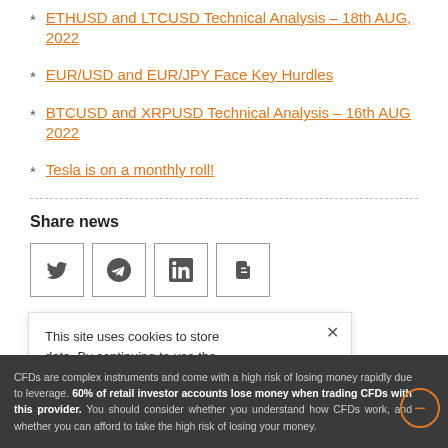ETHUSD and LTCUSD Technical Analysis – 18th AUG, 2022
EUR/USD and EUR/JPY Face Key Hurdles
BTCUSD and XRPUSD Technical Analysis – 16th AUG 2022
Tesla is on a monthly roll!
Share news
[Figure (other): Social share buttons: Twitter, Telegram, LinkedIn, Blogger]
This site uses cookies to store data. By continuing to use the
CFDs are complex instruments and come with a high risk of losing money rapidly due to leverage. 60% of retail investor accounts lose money when trading CFDs with this provider. You should consider whether you understand how CFDs work, and whether you can afford to take the high risk of losing your money.